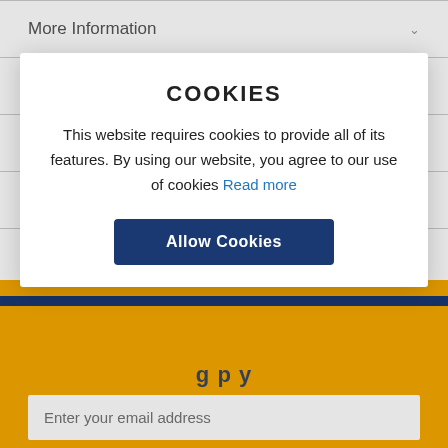More Information
Reviews
Delivery
Related Posts
Da
[Figure (screenshot): Cookie consent modal dialog overlay with title COOKIES, body text about website cookie usage, a blue Read more link, and an Allow Cookies button on a dark navy background]
Enter your email address